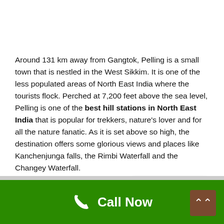Around 131 km away from Gangtok, Pelling is a small town that is nestled in the West Sikkim. It is one of the less populated areas of North East India where the tourists flock. Perched at 7,200 feet above the sea level, Pelling is one of the best hill stations in North East India that is popular for trekkers, nature's lover and for all the nature fanatic. As it is set above so high, the destination offers some glorious views and places like Kanchenjunga falls, the Rimbi Waterfall and the Changey Waterfall.
Best Season To Visit: March to October
[Figure (other): WhatsApp chat bubble with green icon and text 'How can I help you?']
Call Now